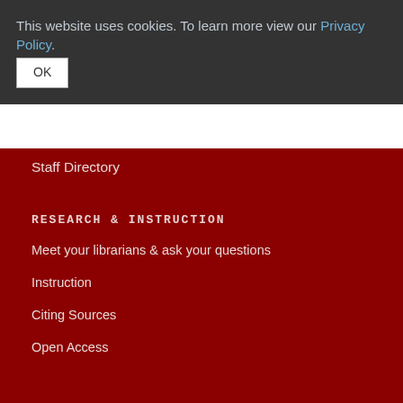This website uses cookies. To learn more view our Privacy Policy.
Staff Directory
RESEARCH & INSTRUCTION
Meet your librarians & ask your questions
Instruction
Citing Sources
Open Access
INFORMATION FOR...
Faculty
Students